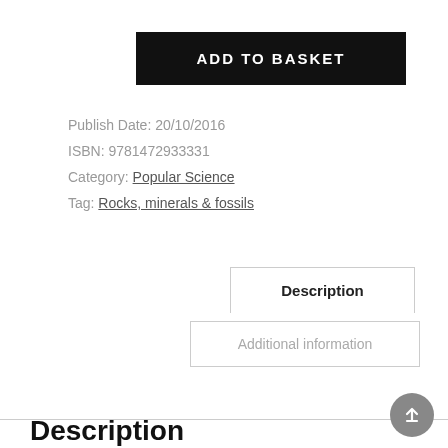ADD TO BASKET
Publish Date: 20/10/2016
ISBN: 9781472933331
Category: Popular Science
Tag: Rocks, minerals & fossils
Description
Additional information
Description